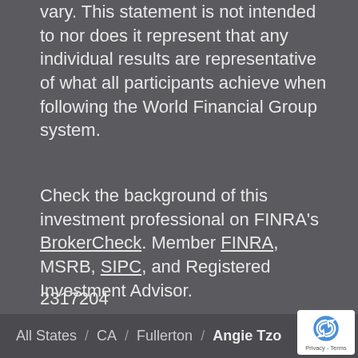vary. This statement is not intended to nor does it represent that any individual results are representative of what all participants achieve when following the World Financial Group system.
Check the background of this investment professional on FINRA's BrokerCheck. Member FINRA, MSRB, SIPC, and Registered Investment Advisor.
2317204
TFA-0822
All States / CA / Fullerton / Angie Tzo